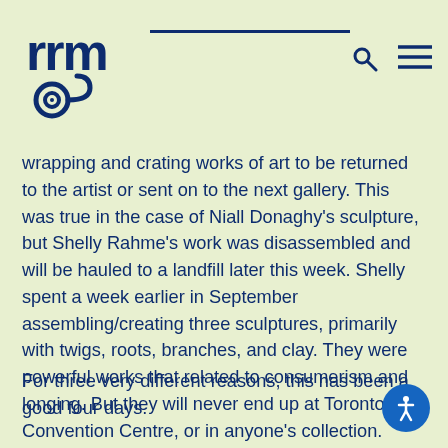RMG logo with search and menu icons
wrapping and crating works of art to be returned to the artist or sent on to the next gallery. This was true in the case of Niall Donaghy's sculpture, but Shelly Rahme's work was disassembled and will be hauled to a landfill later this week. Shelly spent a week earlier in September assembling/creating three sculptures, primarily with twigs, roots, branches, and clay. They were powerful works that related to consumerism and longing. But they will never end up at Toronto's Convention Centre, or in anyone's collection. They are site specific work, meant to exist for the moment and only live on in the catalogue and installation photographs of the exhibition.
For three very different reasons, this has been a good four days.